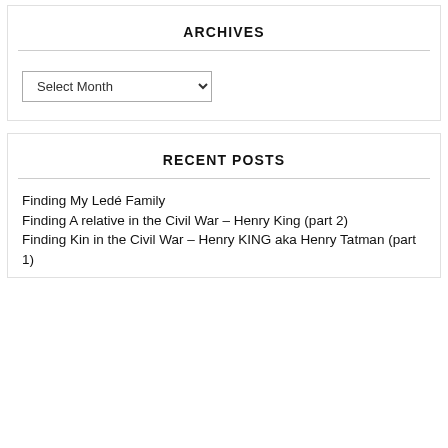ARCHIVES
Select Month
RECENT POSTS
Finding My Ledé Family
Finding A relative in the Civil War – Henry King (part 2)
Finding Kin in the Civil War – Henry KING aka Henry Tatman (part 1)